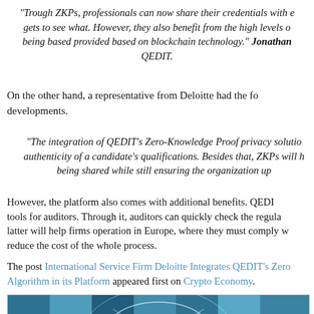"Trough ZKPs, professionals can now share their credentials with e... gets to see what. However, they also benefit from the high levels o... being based provided based on blockchain technology." Jonathan QEDIT.
On the other hand, a representative from Deloitte had the fo... developments.
"The integration of QEDIT's Zero-Knowledge Proof privacy solutio... authenticity of a candidate's qualifications. Besides that, ZKPs will h... being shared while still ensuring the organization up...
However, the platform also comes with additional benefits. QEDI... tools for auditors. Through it, auditors can quickly check the regula... latter will help firms operation in Europe, where they must comply w... reduce the cost of the whole process.
The post International Service Firm Deloitte Integrates QEDIT's Zero... Algorithm in its Platform appeared first on Crypto Economy.
[Figure (photo): Abstract technology image with blue tones showing geometric cube shapes and circular network lines]